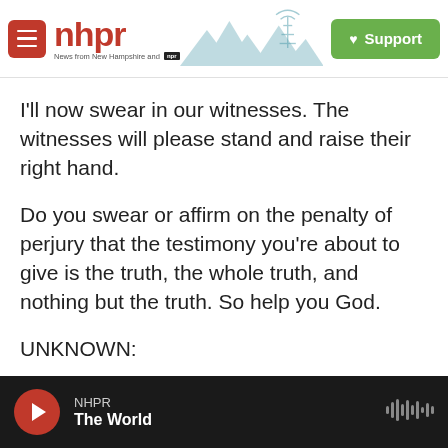[Figure (logo): NHPR website header with hamburger menu, nhpr logo, mountain/radio tower silhouette graphic, and green Support button]
I'll now swear in our witnesses. The witnesses will please stand and raise their right hand.
Do you swear or affirm on the penalty of perjury that the testimony you're about to give is the truth, the whole truth, and nothing but the truth. So help you God.
UNKNOWN:
[off-mic]
BENNIE THOMPSON:
NHPR  The World